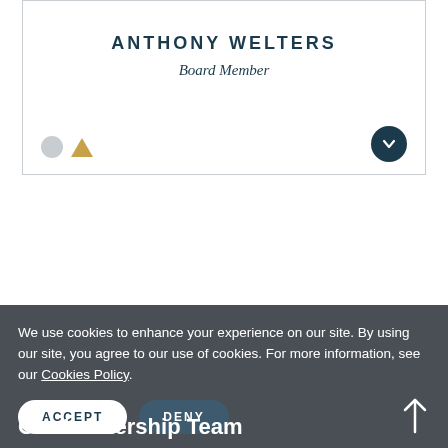ANTHONY WELTERS
Board Member
[Figure (other): Card with decorative icons: grey circle, gold triangle on left; dark navy chevron-down button on right]
We use cookies to enhance your experience on our site. By using our site, you agree to our use of cookies. For more information, see our Cookies Policy.
ACCEPT  DENY
Our Leadership Team